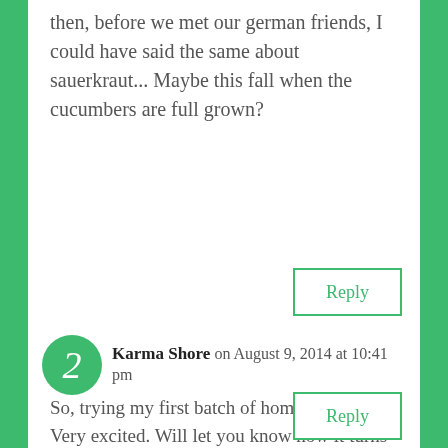then, before we met our german friends, I could have said the same about sauerkraut... Maybe this fall when the cucumbers are full grown?
Reply
Karma Shore on August 9, 2014 at 10:41 pm
So, trying my first batch of homemade kraut. Very excited. Will let you know how it turns out. Too bad we don't eat much meat cause this would probably be tasty with a pork roast.
Reply